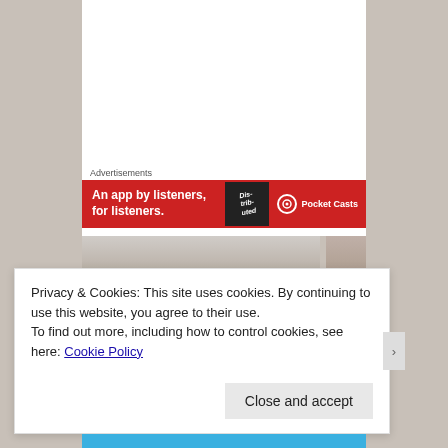[Figure (photo): Narrow alley or medina street with stone/tile paving, flanked by high walls, perspective view looking down the passage]
Advertisements
[Figure (screenshot): Advertisement banner for Pocket Casts podcast app — red background with text 'An app by listeners, for listeners' and Pocket Casts logo on right]
[Figure (photo): Street scene with buildings, white walls and windows visible]
Privacy & Cookies: This site uses cookies. By continuing to use this website, you agree to their use.
To find out more, including how to control cookies, see here: Cookie Policy
Close and accept